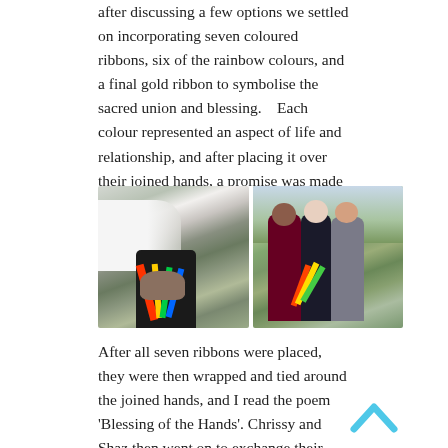after discussing a few options we settled on incorporating seven coloured ribbons, six of the rainbow colours, and a final gold ribbon to symbolise the sacred union and blessing.    Each colour represented an aspect of life and relationship, and after placing it over their joined hands, a promise was made between them.
[Figure (photo): Two side-by-side wedding ceremony photos. Left photo shows a close-up of joined hands being wrapped with colourful ribbons. Right photo shows a wider shot of the ceremony with people standing in an outdoor setting with trees, one person in a maroon dress and one in a grey suit, with colourful ribbons visible.]
After all seven ribbons were placed, they were then wrapped and tied around the joined hands, and I read the poem 'Blessing of the Hands'. Chrissy and Shaz then went on to exchange their vows, and the final moment of pulling their